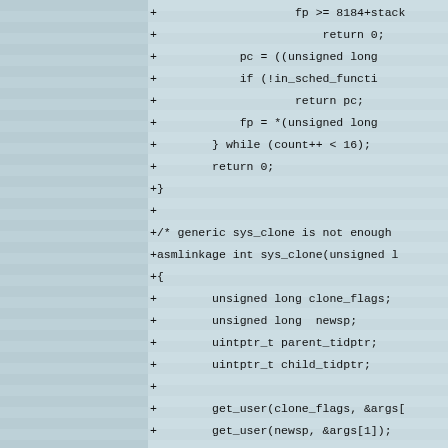[Figure (screenshot): Code diff view showing C source code additions for sys_clone and related kernel functions, with a two-panel layout: left panel with striped gray background, right panel showing diff lines starting with '+' and 'diff --git' metadata.]